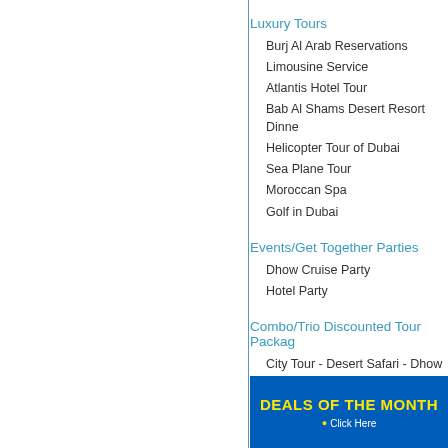Luxury Tours
Burj Al Arab Reservations
Limousine Service
Atlantis Hotel Tour
Bab Al Shams Desert Resort Dinne
Helicopter Tour of Dubai
Sea Plane Tour
Moroccan Spa
Golf in Dubai
Events/Get Together Parties
Dhow Cruise Party
Hotel Party
Combo/Trio Discounted Tour Packag
City Tour - Desert Safari - Dhow C
Desert Safari - Dhow Cruise
Desert Safari - City Tour
Dhow Cruise - City Tour
Hatta Wadi - Desert Safari
City Tour - Abu Dhabi City Tour -
[Figure (infographic): Deals of the Month - Click Here banner with yellow text on blue background]